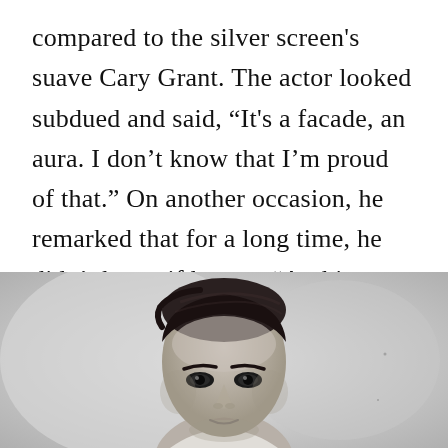compared to the silver screen's suave Cary Grant. The actor looked subdued and said, “It’s a facade, an aura. I don’t know that I’m proud of that.” On another occasion, he remarked that for a long time, he didn’t know if he was “Archie Leach or Cary Grant.”
[Figure (photo): Black and white photograph of a young man (Cary Grant) with slicked-back dark hair, looking slightly upward, cropped at approximately chin to top of head, light blurred background.]